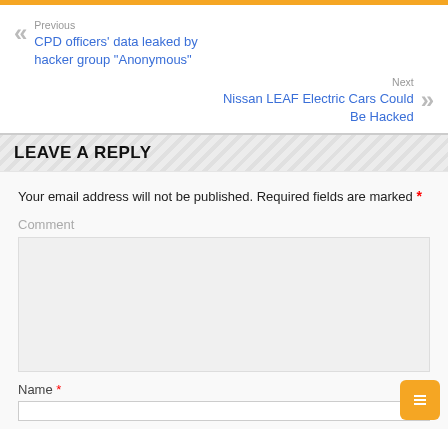Previous
CPD officers' data leaked by hacker group "Anonymous"
Next
Nissan LEAF Electric Cars Could Be Hacked
LEAVE A REPLY
Your email address will not be published. Required fields are marked *
Comment
Name *